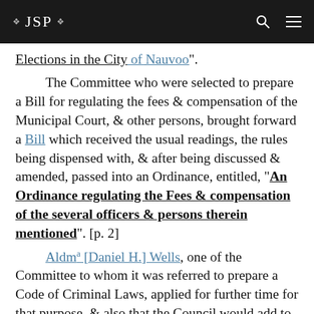JSP
Elections in the City of Nauvoo”.
    The Committee who were selected to prepare a Bill for regulating the fees & compensation of the Municipal Court, & other persons, brought forward a Bill which received the usual readings, the rules being dispensed with, & after being discussed & amended, passed into an Ordinance, entitled, “An Ordinance regulating the Fees & compensation of the several officers & persons therein mentioned”. [p. 2]
    Aldmª [Daniel H.] Wells, one of the Committee to whom it was referred to prepare a Code of Criminal Laws, applied for further time for that purpose, & also that the Council would add to the number of the present Committee, both of which